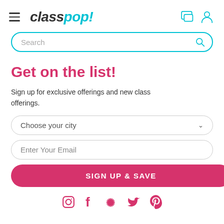classpop!
Search
Get on the list!
Sign up for exclusive offerings and new class offerings.
Choose your city
Enter Your Email
SIGN UP & SAVE
[Figure (infographic): Social media icons row: Instagram, Facebook, Yelp, Twitter, Pinterest — all in pink/crimson color]